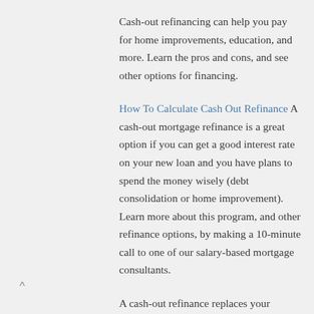Cash-out refinancing can help you pay for home improvements, education, and more. Learn the pros and cons, and see other options for financing.
How To Calculate Cash Out Refinance A cash-out mortgage refinance is a great option if you can get a good interest rate on your new loan and you have plans to spend the money wisely (debt consolidation or home improvement). Learn more about this program, and other refinance options, by making a 10-minute call to one of our salary-based mortgage consultants.
A cash-out refinance replaces your current home loan with a new mortgage for more than you owe to directly help you. You...